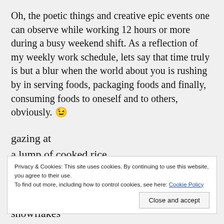Oh, the poetic things and creative epic events one can observe while working 12 hours or more during a busy weekend shift. As a reflection of my weekly work schedule, lets say that time truly is but a blur when the world about you is rushing by in serving foods, packaging foods and finally, consuming foods to oneself and to others, obviously. 😉
gazing at
a lump of cooked rice
full moon
Privacy & Cookies: This site uses cookies. By continuing to use this website, you agree to their use.
To find out more, including how to control cookies, see here: Cookie Policy
Close and accept
snowflakes